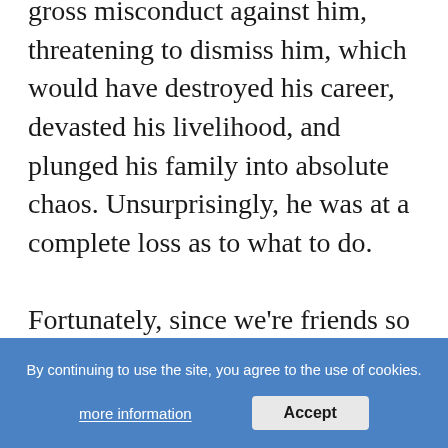gross misconduct against him, threatening to dismiss him, which would have destroyed his career, devasted his livelihood, and plunged his family into absolute chaos. Unsurprisingly, he was at a complete loss as to what to do.

Fortunately, since we're friends so he called me for legal advice. We spoke for a couple of hours and agreed on a good strategy for him to use with his employers. It worked! In fact, it worked so well that he withdrew the dismissal threat, gave him a great exit package, and he managed to get a new, far better job, just a few days later.

All this benefit from one phone call. Imagine what could have happened without it!
By continuing to use the site, you agree to the use of cookies.
more information
Accept